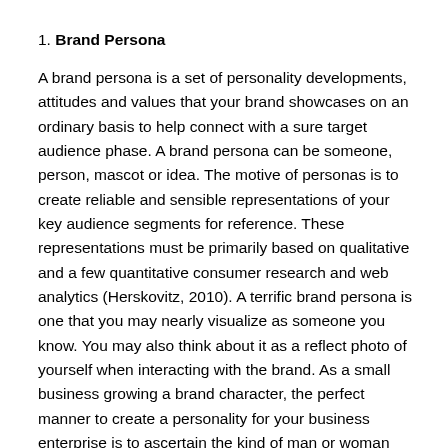1. Brand Persona
A brand persona is a set of personality developments, attitudes and values that your brand showcases on an ordinary basis to help connect with a sure target audience phase. A brand persona can be someone, person, mascot or idea. The motive of personas is to create reliable and sensible representations of your key audience segments for reference. These representations must be primarily based on qualitative and a few quantitative consumer research and web analytics (Herskovitz, 2010). A terrific brand persona is one that you may nearly visualize as someone you know. You may also think about it as a reflect photo of yourself when interacting with the brand. As a small business growing a brand character, the perfect manner to create a personality for your business enterprise is to ascertain the kind of man or woman you think would be most inquisitive about our services and products, and create messaging for them. A real character can assist establish agree with users and help hold their loyalty. This is mainly excellent for ecommerce web sites, as a powerful